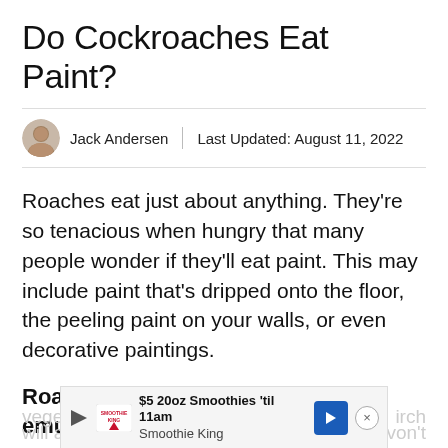Do Cockroaches Eat Paint?
Jack Andersen  |  Last Updated: August 11, 2022
Roaches eat just about anything. They're so tenacious when hungry that many people wonder if they'll eat paint. This may include paint that's dripped onto the floor, the peeling paint on your walls, or even decorative paintings.
Roaches eat oil-based paint and emulsion paint. Ones that contain
[Figure (other): Advertisement banner for Smoothie King: '$5 20oz Smoothies 'til 11am Smoothie King' with play button, Smoothie King logo, blue arrow navigation button, and close X button. Partially overlaid text from article visible behind ad.]